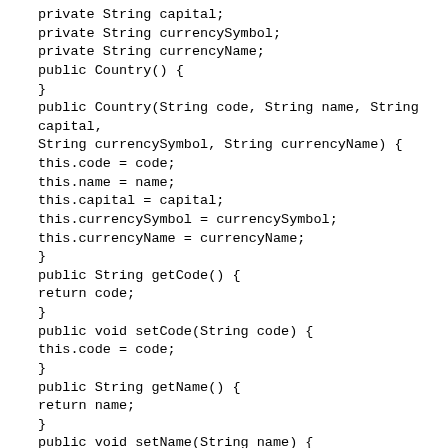private String capital;
private String currencySymbol;
private String currencyName;
public Country() {
}
public Country(String code, String name, String capital,
String currencySymbol, String currencyName) {
this.code = code;
this.name = name;
this.capital = capital;
this.currencySymbol = currencySymbol;
this.currencyName = currencyName;
}
public String getCode() {
return code;
}
public void setCode(String code) {
this.code = code;
}
public String getName() {
return name;
}
public void setName(String name) {
this.name = name;
}
public String getCapital() {
return capital;
}
public void setCapital(String capital) {
this.capital = capital;